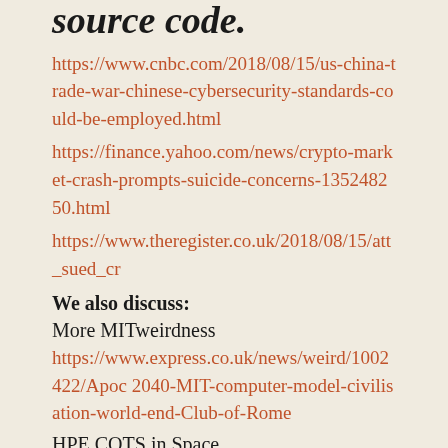source code.
https://www.cnbc.com/2018/08/15/us-china-trade-war-chinese-cybersecurity-standards-could-be-employed.html
https://finance.yahoo.com/news/crypto-market-crash-prompts-suicide-concerns-135248250.html
https://www.theregister.co.uk/2018/08/15/att_sued_cr
We also discuss:
More MITweirdness
https://www.express.co.uk/news/weird/1002422/Apoc 2040-MIT-computer-model-civilisation-world-end-Club-of-Rome
HPE COTS in Space
https://news.hpe.com/spaceborne-computer-still-flying-high-one-year-later/
Tesla goes it alone on AI chiptech